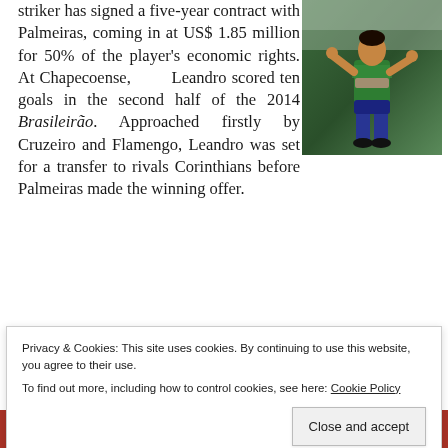striker has signed a five-year contract with Palmeiras, coming in at US$ 1.85 million for 50% of the player's economic rights. At Chapecoense, Leandro scored ten goals in the second half of the 2014 Brasileirão. Approached firstly by Cruzeiro and Flamengo, Leandro was set for a transfer to rivals Corinthians before Palmeiras made the winning offer.
[Figure (photo): Soccer player in green jersey celebrating, pulling up shirt]
Privacy & Cookies: This site uses cookies. By continuing to use this website, you agree to their use. To find out more, including how to control cookies, see here: Cookie Policy